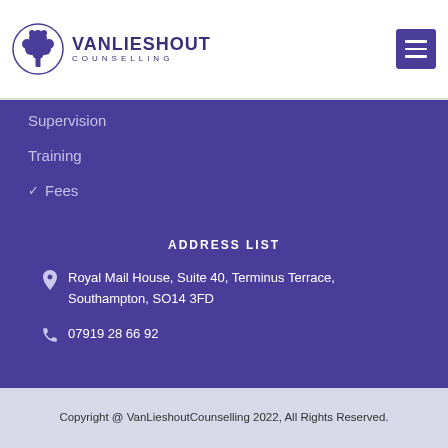[Figure (logo): VanLieshout Counselling logo with tree icon and text]
Supervision
Training
✓ Fees
ADDRESS LIST
Royal Mail House, Suite 40, Terminus Terrace, Southampton, SO14 3FD
07919 28 66 92
Copyright @ VanLieshoutCounselling 2022, All Rights Reserved.